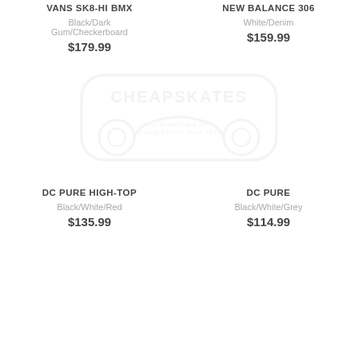VANS SK8-HI BMX
Black/Dark Gum/Checkerboard
$179.99
NEW BALANCE 306
White/Denim
$159.99
[Figure (logo): Cheapskates skate shop watermark logo]
DC PURE HIGH-TOP
Black/White/Red
$135.99
DC PURE
Black/White/Grey
$114.99